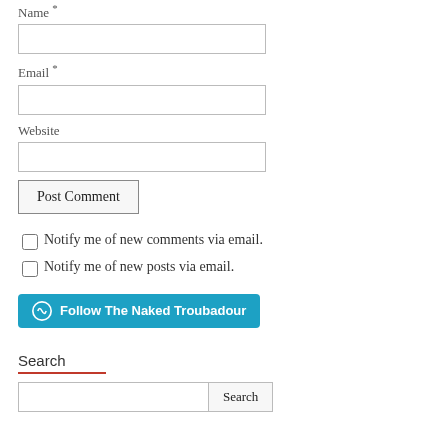Name *
Email *
Website
Post Comment
Notify me of new comments via email.
Notify me of new posts via email.
Follow The Naked Troubadour
Search
Search